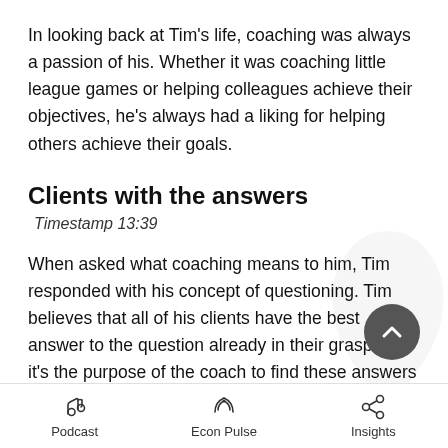In looking back at Tim's life, coaching was always a passion of his. Whether it was coaching little league games or helping colleagues achieve their objectives, he's always had a liking for helping others achieve their goals.
Clients with the answers
Timestamp 13:39
When asked what coaching means to him, Tim responded with his concept of questioning. Tim believes that all of his clients have the best answer to the question already in their grasp, and it's the purpose of the coach to find these answers with them.
Podcast   Econ Pulse   Insights